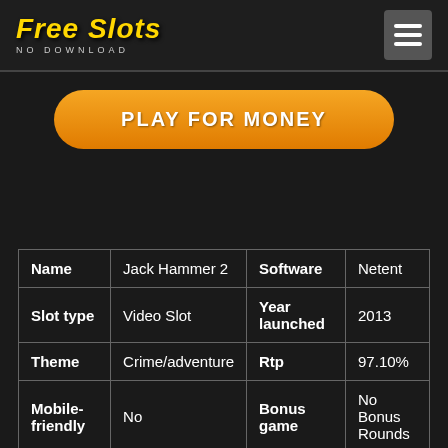Free Slots NO DOWNLOAD
PLAY FOR MONEY
| Name | Jack Hammer 2 | Software | Netent |
| --- | --- | --- | --- |
| Slot type | Video Slot | Year launched | 2013 |
| Theme | Crime/adventure | Rtp | 97.10% |
| Mobile-friendly | No | Bonus game | No Bonus Rounds |
|  |  |  | No |